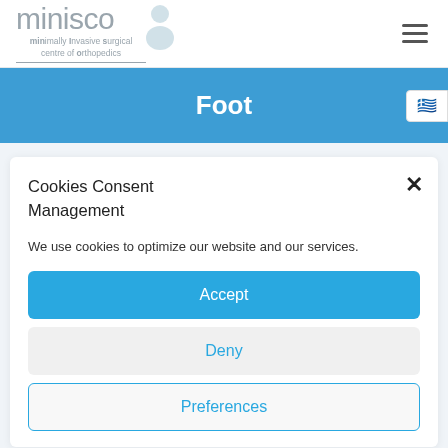minisco — minimally Invasive surgical centre of orthopedics
Foot
Cookies Consent Management
We use cookies to optimize our website and our services.
Accept
Deny
Preferences